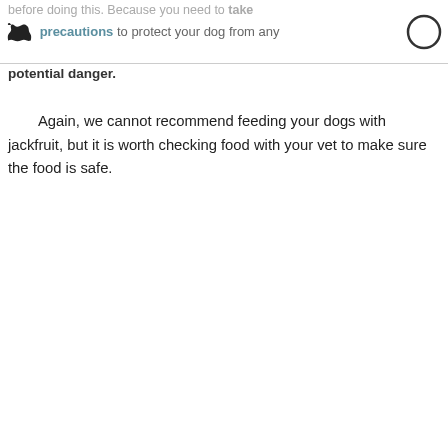before doing this. Because you need to take precautions to protect your dog from any potential danger.
Again, we cannot recommend feeding your dogs with jackfruit, but it is worth checking food with your vet to make sure the food is safe.